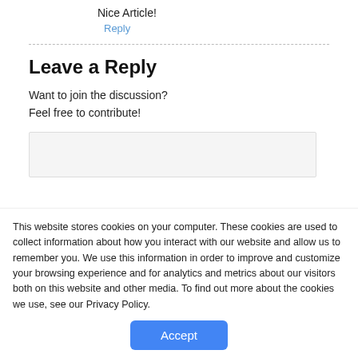Nice Article!
Reply
Leave a Reply
Want to join the discussion?
Feel free to contribute!
This website stores cookies on your computer. These cookies are used to collect information about how you interact with our website and allow us to remember you. We use this information in order to improve and customize your browsing experience and for analytics and metrics about our visitors both on this website and other media. To find out more about the cookies we use, see our Privacy Policy.
Accept